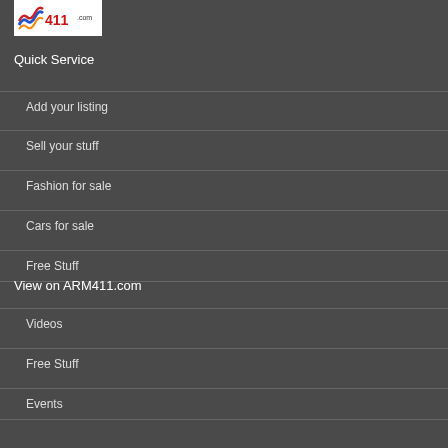[Figure (logo): ARM411.com logo with colorful flag/wave icon and red 411 text]
Quick Service
Add your listing
Sell your stuff
Fashion for sale
Cars for sale
Free Stuff
View on ARM411.com
Videos
Free Stuff
Events